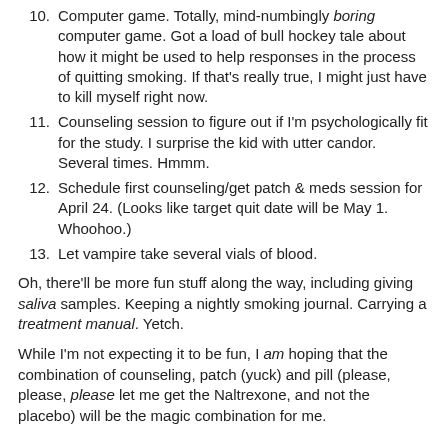10. Computer game. Totally, mind-numbingly boring computer game. Got a load of bull hockey tale about how it might be used to help responses in the process of quitting smoking. If that's really true, I might just have to kill myself right now.
11. Counseling session to figure out if I'm psychologically fit for the study. I surprise the kid with utter candor. Several times. Hmmm.
12. Schedule first counseling/get patch & meds session for April 24. (Looks like target quit date will be May 1. Whoohoo.)
13. Let vampire take several vials of blood.
Oh, there'll be more fun stuff along the way, including giving saliva samples. Keeping a nightly smoking journal. Carrying a treatment manual. Yetch.
While I'm not expecting it to be fun, I am hoping that the combination of counseling, patch (yuck) and pill (please, please, please let me get the Naltrexone, and not the placebo) will be the magic combination for me.